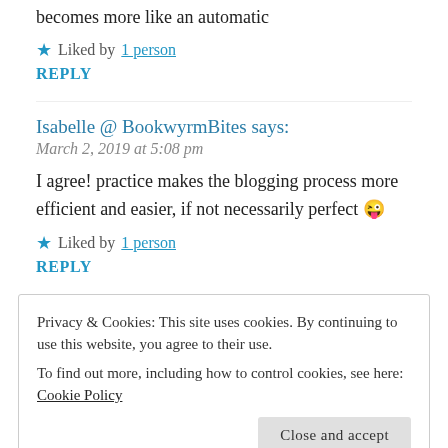becomes more like an automatic
★ Liked by 1 person
REPLY
Isabelle @ BookwyrmBites says:
March 2, 2019 at 5:08 pm
I agree! practice makes the blogging process more efficient and easier, if not necessarily perfect 😜
★ Liked by 1 person
REPLY
Privacy & Cookies: This site uses cookies. By continuing to use this website, you agree to their use. To find out more, including how to control cookies, see here: Cookie Policy
Close and accept
either but in the end swaps aren't a test of what you know. More lik…